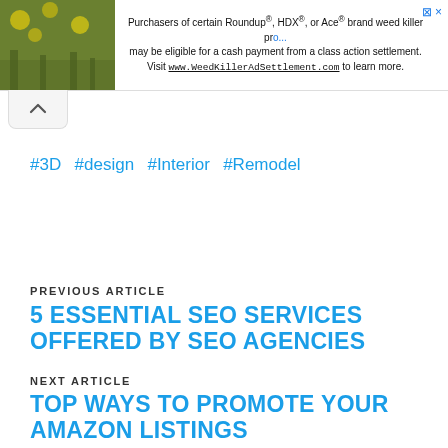[Figure (other): Advertisement banner with plant/nature image on the left and text about Roundup, HDX, or Ace brand weed killer class action settlement on the right]
#3D  #design  #Interior  #Remodel
PREVIOUS ARTICLE
5 ESSENTIAL SEO SERVICES OFFERED BY SEO AGENCIES
NEXT ARTICLE
TOP WAYS TO PROMOTE YOUR AMAZON LISTINGS